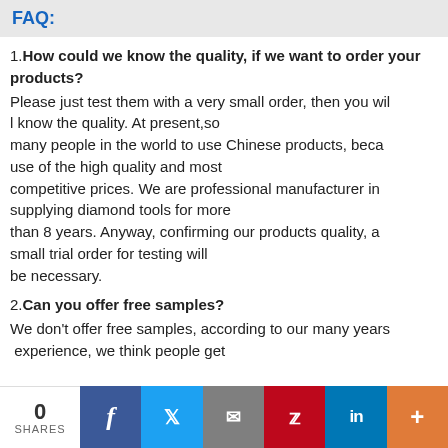FAQ:
1. How could we know the quality, if we want to order your products?
Please just test them with a very small order, then you will know the quality. At present,so many people in the world to use Chinese products, because of the high quality and most competitive prices. We are professional manufacturer in supplying diamond tools for more than 8 years. Anyway, confirming our products quality, a small trial order for testing will be necessary.
2. Can you offer free samples?
We don't offer free samples, according to our many years experience, we think people get